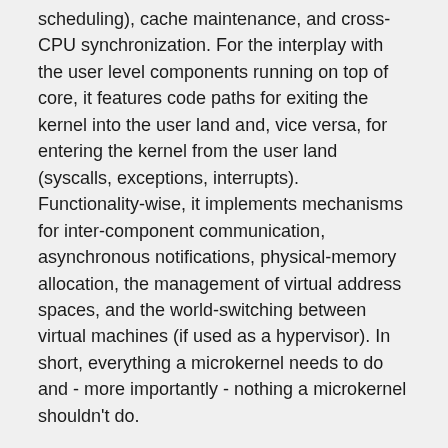scheduling), cache maintenance, and cross-CPU synchronization. For the interplay with the user level components running on top of core, it features code paths for exiting the kernel into the user land and, vice versa, for entering the kernel from the user land (syscalls, exceptions, interrupts). Functionality-wise, it implements mechanisms for inter-component communication, asynchronous notifications, physical-memory allocation, the management of virtual address spaces, and the world-switching between virtual machines (if used as a hypervisor). In short, everything a microkernel needs to do and - more importantly - nothing a microkernel shouldn't do.
Review of the board-specific code
Before starting the work on the new board support, let us briefly look into each of the files for the existing i.MX8q EVK board.
In list of files, we spot three header files, one board.h header under src/bootstrap/, one board.h header under src/core/, and one imx8q_evk_board.h header under